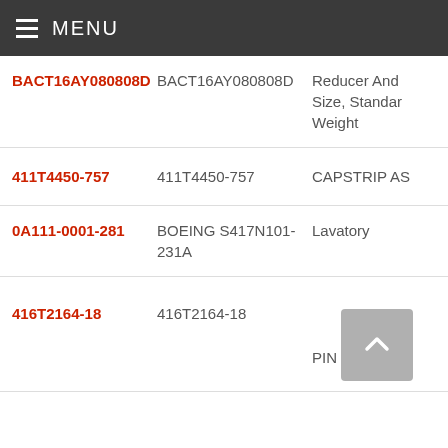MENU
| Part Number (Link) | Part Number | Description |
| --- | --- | --- |
| BACT16AY080808D | BACT16AY080808D | Reducer And Size, Standard Weight |
| 411T4450-757 | 411T4450-757 | CAPSTRIP AS… |
| 0A111-0001-281 | BOEING S417N101-231A | Lavatory |
| 416T2164-18 | 416T2164-18 | PIN |